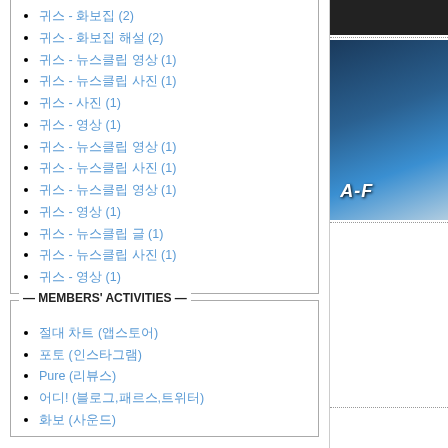□□□ - □□□ (2)
□□□ - □□□ □□ (2)
□□□ - □□□□ □□ (1)
□□□ - □□□□ □□ (1)
□□□ - □□ (1)
□□□ - □□ (1)
□□□ - □□□□ □□ (1)
□□□ - □□□□ □□ (1)
□□□ - □□□□ □□ (1)
□□□ - □□ (1)
□□□ - □□□□ □□ (1)
□□□ - □□□□ □□ (1)
□□□ - □□ (1)
MEMBERS' ACTIVITIES
□□ □□ (□□□)
□□□ (□□□)
Pure (□□□)
□! (□□□,□□□,□□□)
□□ (□□□)
MANIADB: maniadb/artist/113579
FACEBOOK: facebook/BANDAFRICA
[Figure (photo): Dark header image at top right]
[Figure (photo): Blue water reflection photo with A-F text overlay]